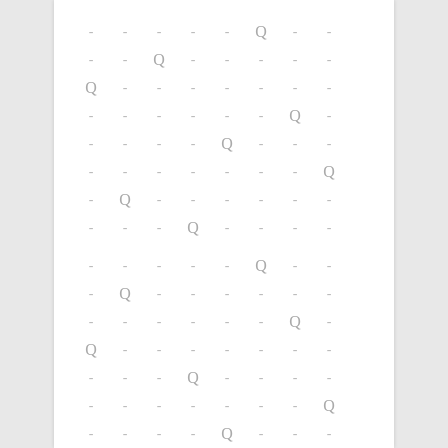[Figure (other): Three groups of 8x8 grid rows with Q pieces and dashes, representing chess queen placement puzzle solutions. Each group contains 8 rows, each row having 8 cells with one Q and seven dashes.]